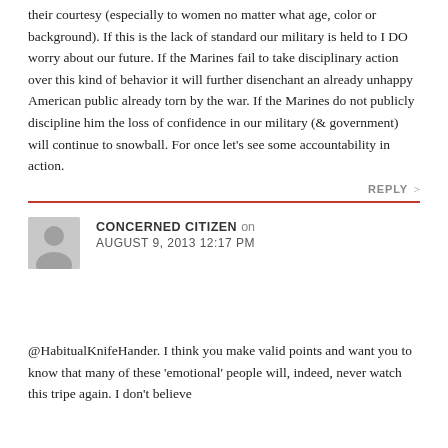their courtesy (especially to women no matter what age, color or background). If this is the lack of standard our military is held to I DO worry about our future. If the Marines fail to take disciplinary action over this kind of behavior it will further disenchant an already unhappy American public already torn by the war. If the Marines do not publicly discipline him the loss of confidence in our military (& government) will continue to snowball. For once let's see some accountability in action.
REPLY >
CONCERNED CITIZEN on AUGUST 9, 2013 12:17 PM
@HabitualKnifeHander. I think you make valid points and want you to know that many of these 'emotional' people will, indeed, never watch this tripe again. I don't believe